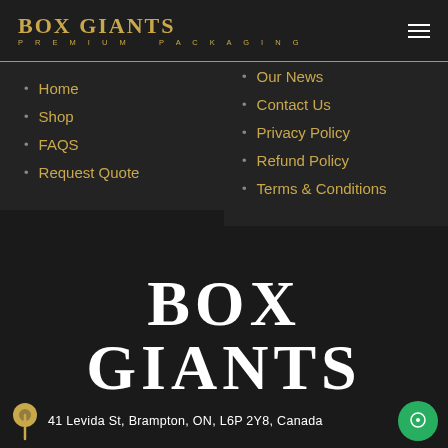BOX GIANTS PREMIUM PACKAGING
Home
Shop
FAQS
Request Quote
Our News
Contact Us
Privacy Policy
Refund Policy
Terms & Conditions
[Figure (logo): Box Giants Premium Packaging large white logo on dark background]
41 Levida St, Brampton, ON, L6P 2Y8, Canada